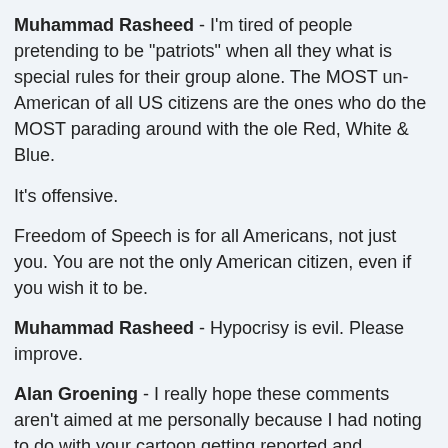Muhammad Rasheed - I'm tired of people pretending to be "patriots" when all they what is special rules for their group alone. The MOST un-American of all US citizens are the ones who do the MOST parading around with the ole Red, White & Blue.
It's offensive.
Freedom of Speech is for all Americans, not just you. You are not the only American citizen, even if you wish it to be.
Muhammad Rasheed - Hypocrisy is evil. Please improve.
Alan Groening - I really hope these comments aren't aimed at me personally because I had noting to do with your cartoon getting reported and removed or whatever else happened. and by the way I dont know what "smdh" means, remember, I'm ignorant?
so what you're saying is that the vast majority of the flag waving Red, White and Blue patriotic US citizens out there are un-American (in your eyes) ? Isn't that just a wee tad